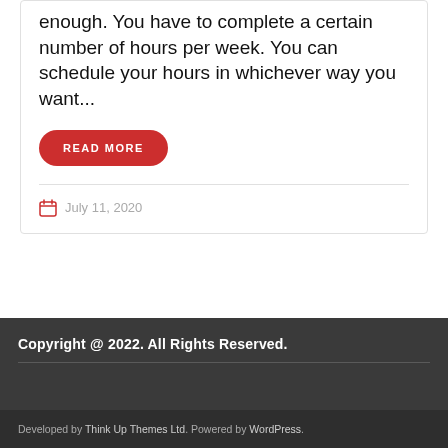enough. You have to complete a certain number of hours per week. You can schedule your hours in whichever way you want...
READ MORE
July 11, 2020
1 2 >
Copyright @ 2022. All Rights Reserved.
Developed by Think Up Themes Ltd. Powered by WordPress.